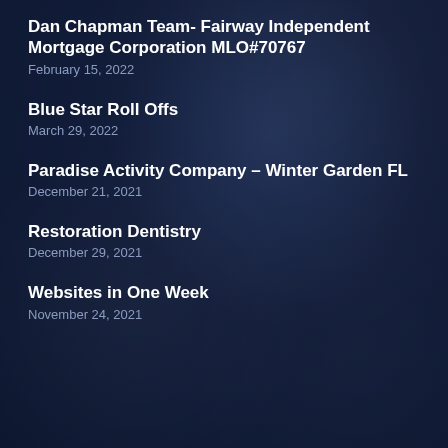Dan Chapman Team- Fairway Independent Mortgage Corporation MLO#70767
February 15, 2022
Blue Star Roll Offs
March 29, 2022
Paradise Activity Company – Winter Garden FL
December 21, 2021
Restoration Dentistry
December 29, 2021
Websites in One Week
November 24, 2021